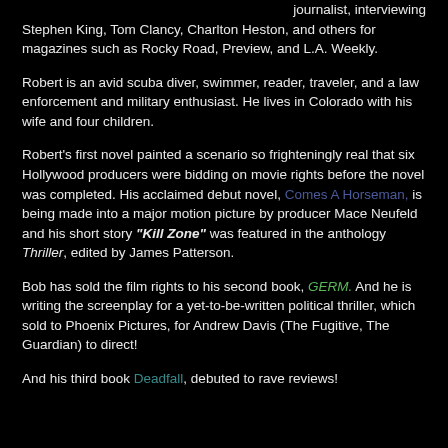journalist, interviewing Stephen King, Tom Clancy, Charlton Heston, and others for magazines such as Rocky Road, Preview, and L.A. Weekly.
Robert is an avid scuba diver, swimmer, reader, traveler, and a law enforcement and military enthusiast. He lives in Colorado with his wife and four children.
Robert's first novel painted a scenario so frighteningly real that six Hollywood producers were bidding on movie rights before the novel was completed. His acclaimed debut novel, Comes A Horseman, is being made into a major motion picture by producer Mace Neufeld and his short story "Kill Zone" was featured in the anthology Thriller, edited by James Patterson.
Bob has sold the film rights to his second book, GERM. And he is writing the screenplay for a yet-to-be-written political thriller, which sold to Phoenix Pictures, for Andrew Davis (The Fugitive, The Guardian) to direct!
And his third book Deadfall, debuted to rave reviews!